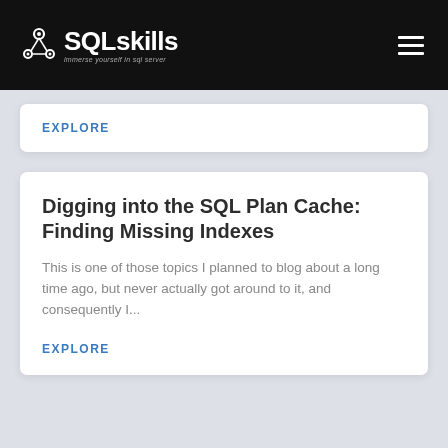SQLskills — immerse yourself in sql server
EXPLORE
Digging into the SQL Plan Cache: Finding Missing Indexes
This is one of those topics I planned to blog about a long time ago, but never actually got around to it, and consequently I...
EXPLORE